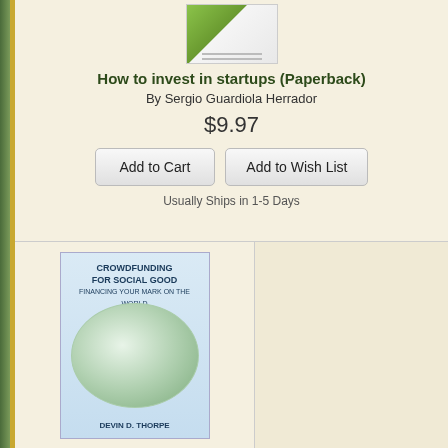[Figure (photo): Book cover for 'How to invest in startups' showing a partially visible cover with green and white design]
How to invest in startups (Paperback)
By Sergio Guardiola Herrador
$9.97
Add to Cart
Add to Wish List
Usually Ships in 1-5 Days
[Figure (photo): Book cover for 'Crowdfunding for Social Good: Financing Your Mark on the World' by Devin D. Thorpe, showing a globe made of people icons on a light blue background]
Crowdfunding for Social Good: Financing Your Mark on the World (Paperback)
By Devin D. Thorpe